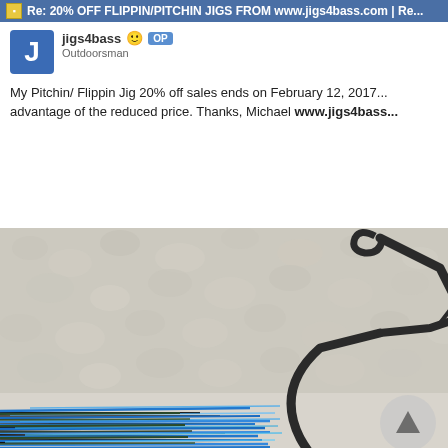Re: 20% OFF FLIPPIN/PITCHIN JIGS FROM www.jigs4bass.com | Re...
jigs4bass 😊 OP
Outdoorsman
My Pitchin/ Flippin Jig 20% off sales ends on February 12, 2017... advantage of the reduced price. Thanks, Michael www.jigs4bass...
[Figure (photo): Close-up photo of a fishing jig showing a large black hook against a white/cream textured carpet background, with blue and dark colored rubber skirt strands visible at the bottom.]